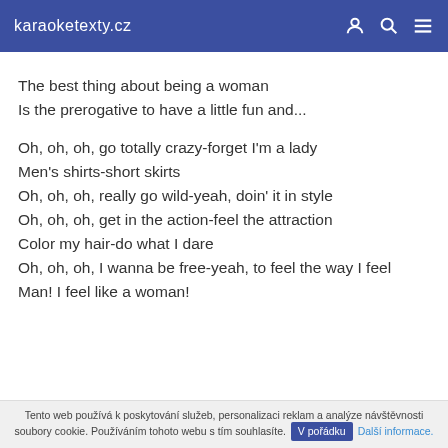karaoketexty.cz
The best thing about being a woman
Is the prerogative to have a little fun and...
Oh, oh, oh, go totally crazy-forget I'm a lady
Men's shirts-short skirts
Oh, oh, oh, really go wild-yeah, doin' it in style
Oh, oh, oh, get in the action-feel the attraction
Color my hair-do what I dare
Oh, oh, oh, I wanna be free-yeah, to feel the way I feel
Man! I feel like a woman!
Tento web používá k poskytování služeb, personalizaci reklam a analýze návštěvnosti soubory cookie. Používáním tohoto webu s tím souhlasíte. V pořádku Další informace.